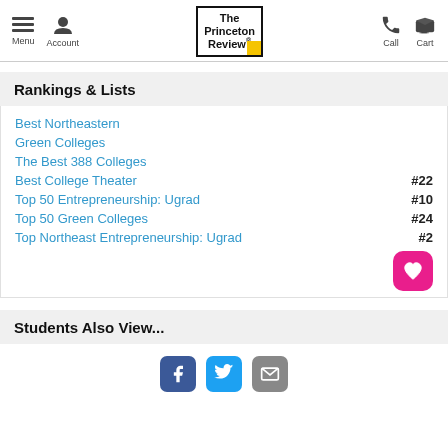Menu | Account | The Princeton Review | Call | Cart
Rankings & Lists
Best Northeastern
Green Colleges
The Best 388 Colleges
Best College Theater  #22
Top 50 Entrepreneurship: Ugrad  #10
Top 50 Green Colleges  #24
Top Northeast Entrepreneurship: Ugrad  #2
Students Also View...